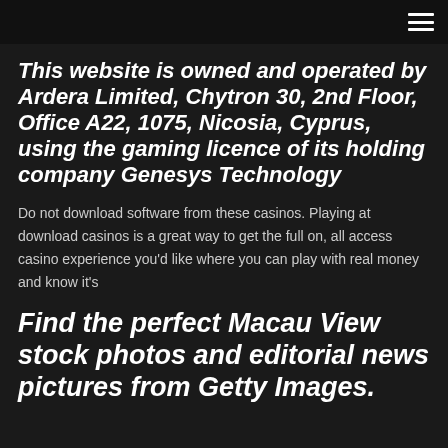This website is owned and operated by Ardera Limited, Chytron 30, 2nd Floor, Office A22, 1075, Nicosia, Cyprus, using the gaming licence of its holding company Genesys Technology
Do not download software from these casinos. Playing at download casinos is a great way to get the full on, all access casino experience you'd like where you can play with real money and know it's
Find the perfect Macau View stock photos and editorial news pictures from Getty Images.